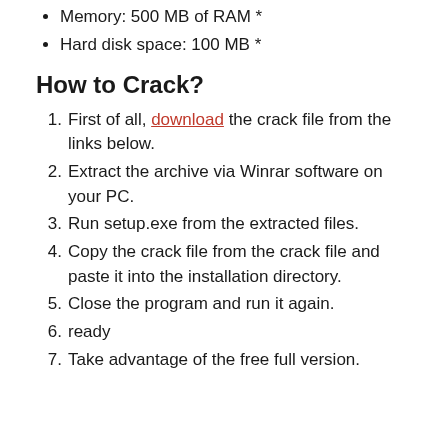Memory: 500 MB of RAM *
Hard disk space: 100 MB *
How to Crack?
First of all, download the crack file from the links below.
Extract the archive via Winrar software on your PC.
Run setup.exe from the extracted files.
Copy the crack file from the crack file and paste it into the installation directory.
Close the program and run it again.
ready
Take advantage of the free full version.